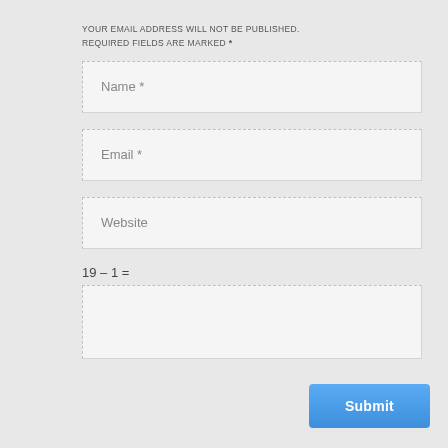YOUR EMAIL ADDRESS WILL NOT BE PUBLISHED. REQUIRED FIELDS ARE MARKED *
Name *
Email *
Website
19 – 1 =
Submit